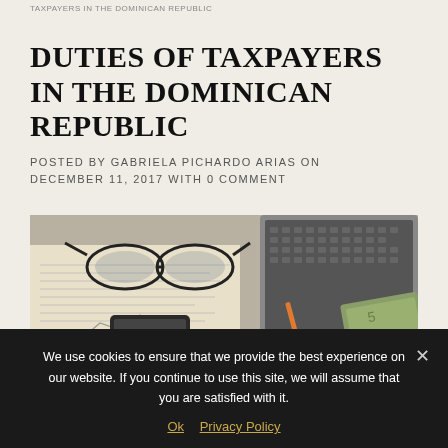TAXPAYERS IN THE DOMINICAN REPUBLIC
DUTIES OF TAXPAYERS IN THE DOMINICAN REPUBLIC
POSTED BY GABRIELA PICHARDO ARIAS ON DECEMBER 11, 2017 WITH 0 COMMENT
[Figure (photo): Desk scene with glasses, laptop keyboard, financial documents, mobile device, cash bills and coins — tax/accounting theme]
We use cookies to ensure that we provide the best experience on our website. If you continue to use this site, we will assume that you are satisfied with it.
Ok   Privacy Policy